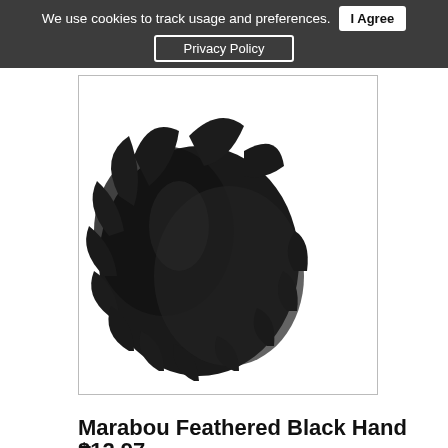We use cookies to track usage and preferences.  I Agree  Privacy Policy
[Figure (photo): Black marabou feathered hand fan with gold metallic folded base against white background]
Marabou Feathered Black Hand Fan
$12.97
Qty:
[Figure (photo): Pink/hot-pink feathered fan or feather duster against white background, partially visible]